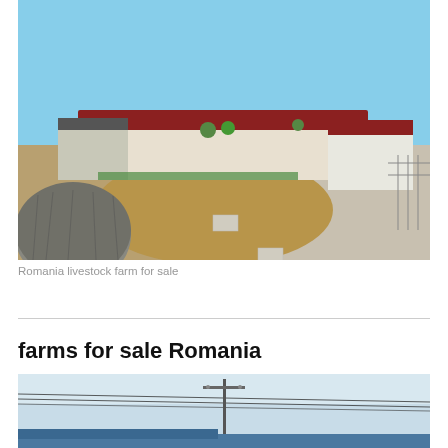[Figure (photo): Aerial/ground-level view of a Romania livestock farm complex with large industrial buildings with red and white roofs, a circular silo structure in the foreground left, dirt yard areas, paved roads, and a clear blue sky.]
Romania livestock farm for sale
farms for sale Romania
[Figure (photo): Partial view of a rural Romanian scene showing power lines against a pale blue sky, with the top portion of farm buildings visible at the bottom edge.]